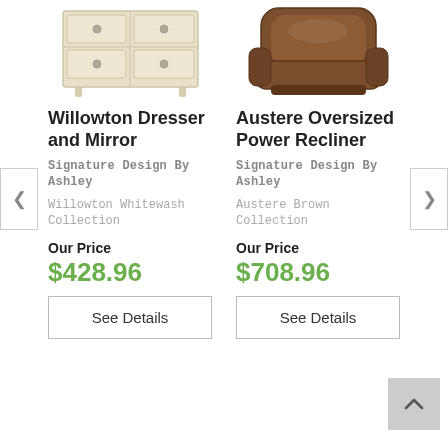[Figure (photo): Willowton Dresser — whitewash dresser with 6 drawers and round knobs]
[Figure (photo): Austere Oversized Power Recliner — brown leather oversized recliner]
Willowton Dresser and Mirror
Signature Design By Ashley
Willowton Whitewash Collection
Our Price
$428.96
See Details
Austere Oversized Power Recliner
Signature Design By Ashley
Austere Brown Collection
Our Price
$708.96
See Details